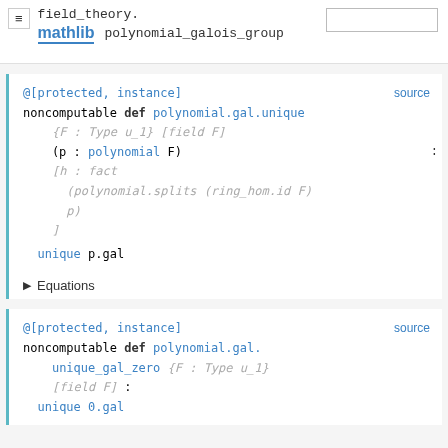field_theory.polynomial_galois_group — mathlib
[Figure (screenshot): Code block showing @[protected, instance] noncomputable def polynomial.gal.unique with type parameters, source link, and Equations section]
[Figure (screenshot): Code block showing @[protected, instance] noncomputable def polynomial.gal.unique_gal_zero with type parameters and source link]